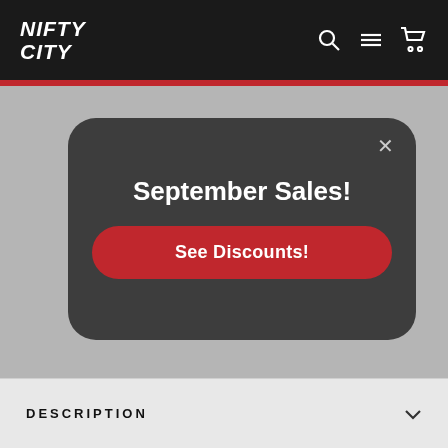NIFTY CITY
[Figure (screenshot): E-commerce webpage screenshot showing Nifty City store with a modal popup for September Sales promotion]
September Sales!
See Discounts!
Shipping, taxes & discounts calculated at checkout.
Share  Tweet
DESCRIPTION